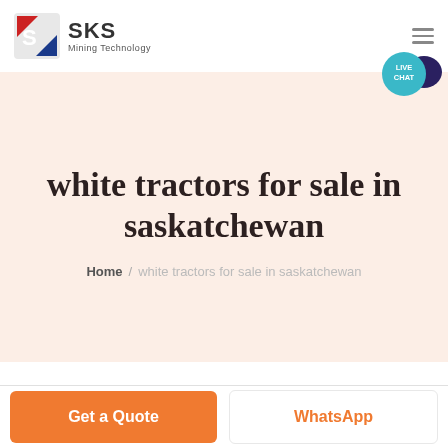[Figure (logo): SKS Mining Technology logo with red/blue diamond S icon and brand name]
white tractors for sale in saskatchewan
Home / white tractors for sale in saskatchewan
Get a Quote
WhatsApp